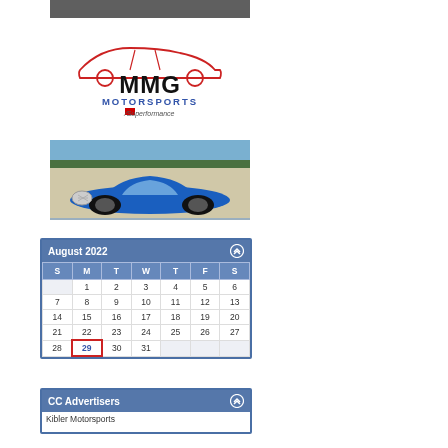[Figure (photo): Partial photo at top of page, cropped]
[Figure (logo): MMG Motorsports logo with red sports car outline above bold MMG text, Motorsports text below, and Superformance logo at bottom]
[Figure (photo): Blue Shelby Cobra replica sports car parked outside a building]
[Figure (other): August 2022 calendar widget with blue header, days grid, and date 29 highlighted with red border]
[Figure (other): CC Advertisers widget with blue header and partial content below]